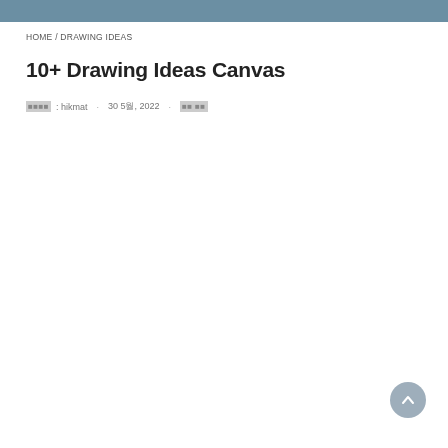HOME / DRAWING IDEAS
10+ Drawing Ideas Canvas
작성자: hikmat · 30 5월, 2022 · 댓글 없음